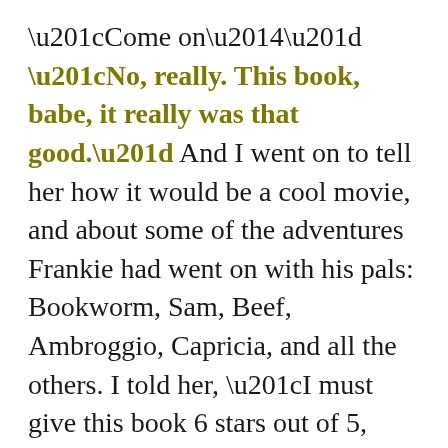“Come on—” “No, really. This book, babe, it really was that good.” And I went on to tell her how it would be a cool movie, and about some of the adventures Frankie had went on with his pals: Bookworm, Sam, Beef, Ambroggio, Capricia, and all the others. I told her, “I must give this book 6 stars out of 5, honestly, because it’s that good.” “Travis, the review is too long!” “Okay, I’ll finish up. I dare anyone to read this masterfully woven tale and